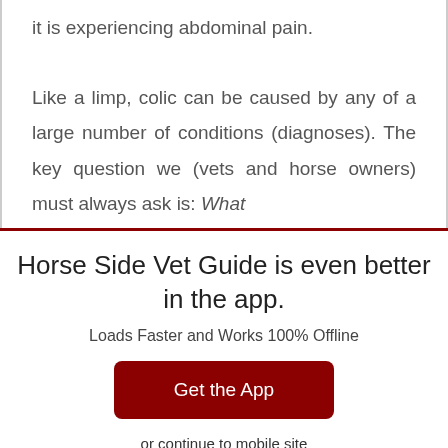it is experiencing abdominal pain. Like a limp, colic can be caused by any of a large number of conditions (diagnoses). The key question we (vets and horse owners) must always ask is: What
Horse Side Vet Guide is even better in the app.
Loads Faster and Works 100% Offline
Get the App
or continue to mobile site